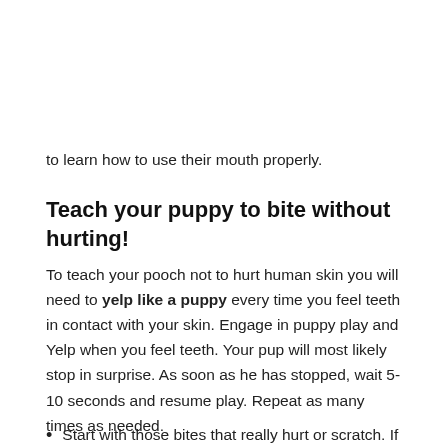to learn how to use their mouth properly.
Teach your puppy to bite without hurting!
To teach your pooch not to hurt human skin you will need to yelp like a puppy every time you feel teeth in contact with your skin. Engage in puppy play and Yelp when you feel teeth. Your pup will most likely stop in surprise. As soon as he has stopped, wait 5-10 seconds and resume play. Repeat as many times as needed.
Start with those bites that really hurt or scratch. If you